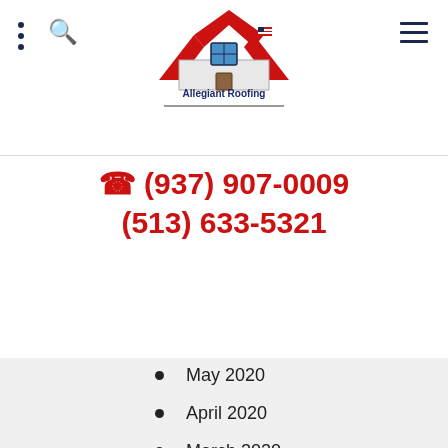[Figure (logo): Allegiant Roofing logo with red roof/chevrons and American flag motif, text 'Allegiant Roofing' in blue]
(937) 907-0009
(513) 633-5321
May 2020
April 2020
March 2020
February 2020
January 2020
December 2019
November 2019
October 2019
September 2019